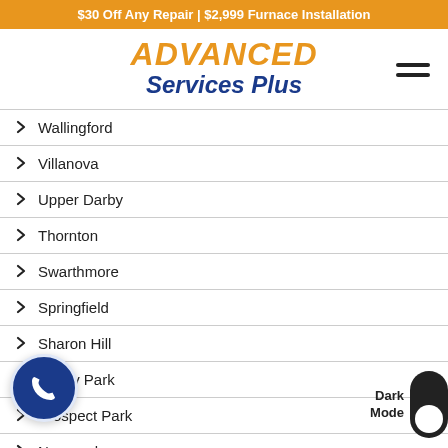$30 Off Any Repair | $2,999 Furnace Installation
ADVANCED Services Plus
Wallingford
Villanova
Upper Darby
Thornton
Swarthmore
Springfield
Sharon Hill
Ridley Park
Prospect Park
Norwood
Newtown Square
Morton